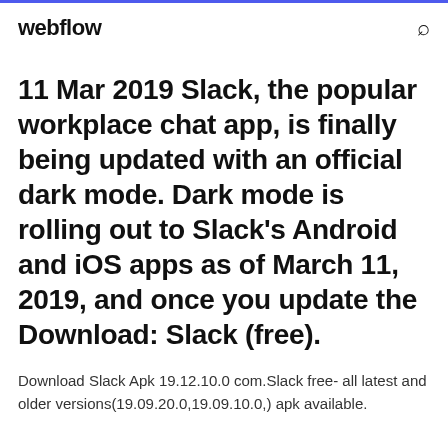webflow
11 Mar 2019 Slack, the popular workplace chat app, is finally being updated with an official dark mode. Dark mode is rolling out to Slack's Android and iOS apps as of March 11, 2019, and once you update the Download: Slack (free).
Download Slack Apk 19.12.10.0 com.Slack free- all latest and older versions(19.09.20.0,19.09.10.0,) apk available.